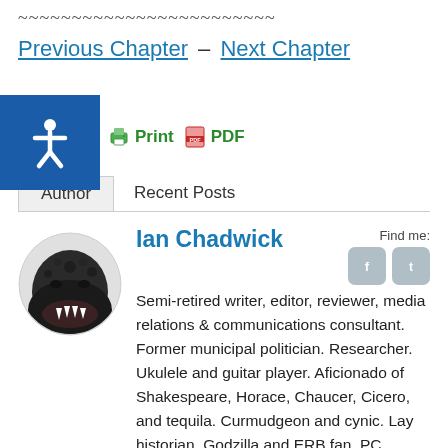~~~~~~~~~~~~~~~~~~~~~~~~
Previous Chapter – Next Chapter
Print   PDF
Author   Recent Posts
Ian Chadwick
Semi-retired writer, editor, reviewer, media relations & communications consultant. Former municipal politician. Researcher. Ukulele and guitar player. Aficionado of Shakespeare, Horace, Chaucer, Cicero, and tequila. Curmudgeon and cynic. Lay historian. Godzilla and ERB fan. PC gamer. Avid reader. Skeptic. Website and WordPress tinkerer. Companion to one dog and